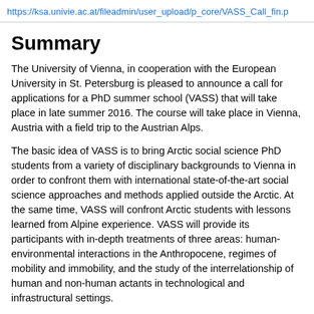https://ksa.univie.ac.at/fileadmin/user_upload/p_core/VASS_Call_fin.p
Summary
The University of Vienna, in cooperation with the European University in St. Petersburg is pleased to announce a call for applications for a PhD summer school (VASS) that will take place in late summer 2016. The course will take place in Vienna, Austria with a field trip to the Austrian Alps.
The basic idea of VASS is to bring Arctic social science PhD students from a variety of disciplinary backgrounds to Vienna in order to confront them with international state-of-the-art social science approaches and methods applied outside the Arctic. At the same time, VASS will confront Arctic students with lessons learned from Alpine experience. VASS will provide its participants with in-depth treatments of three areas: human-environmental interactions in the Anthropocene, regimes of mobility and immobility, and the study of the interrelationship of human and non-human actants in technological and infrastructural settings.